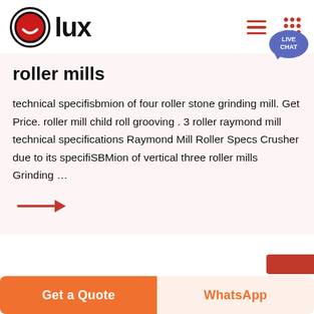[Figure (logo): Olux logo with red circle containing white smiley face and bold text 'lux']
roller mills
technical specifisbmion of four roller stone grinding mill. Get Price. roller mill child roll grooving . 3 roller raymond mill technical specifications Raymond Mill Roller Specs Crusher due to its specifiSBMion of vertical three roller mills Grinding …
[Figure (illustration): Red arrow pointing right]
Get a Quote
WhatsApp